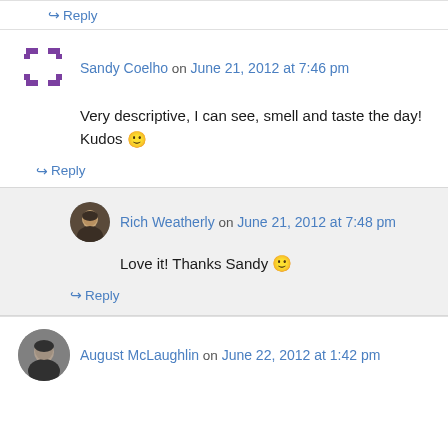↪ Reply
Sandy Coelho on June 21, 2012 at 7:46 pm
Very descriptive, I can see, smell and taste the day! Kudos 🙂
↪ Reply
Rich Weatherly on June 21, 2012 at 7:48 pm
Love it! Thanks Sandy 🙂
↪ Reply
August McLaughlin on June 22, 2012 at 1:42 pm